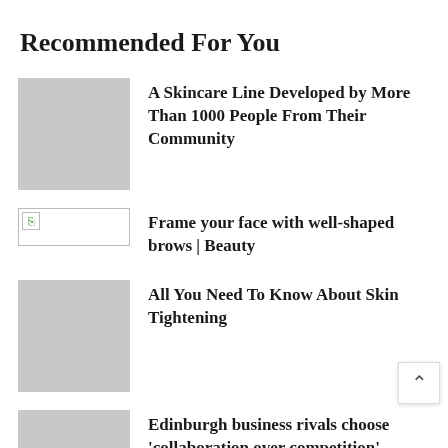Recommended For You
[Figure (photo): Gray placeholder thumbnail image]
A Skincare Line Developed by More Than 1000 People From Their Community
[Figure (photo): Broken image icon with border]
Frame your face with well-shaped brows | Beauty
[Figure (photo): Gray placeholder thumbnail image]
All You Need To Know About Skin Tightening
[Figure (photo): Gray placeholder thumbnail image (partially visible)]
Edinburgh business rivals choose 'collaboration over competition'